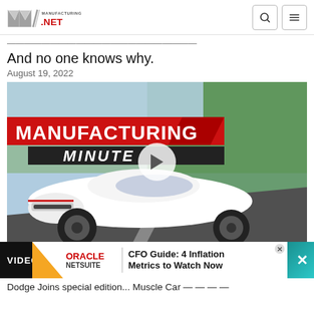Manufacturing.net
And no one knows why.
August 19, 2022
[Figure (screenshot): Manufacturing Minute video thumbnail showing a white Dodge Challenger muscle car driving on a road, with 'MANUFACTURING MINUTE' text overlay and a play button in the center.]
Dodge Joins special edition... (truncated)